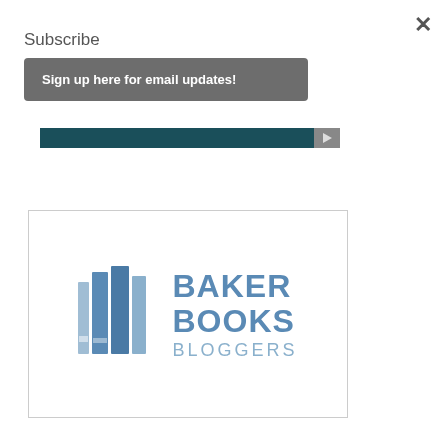×
Subscribe
Sign up here for email updates!
[Figure (screenshot): Dark teal video bar with a play button on the right side]
[Figure (logo): Baker Books Bloggers logo: three stacked books icon in steel blue on the left, with BAKER BOOKS in bold blue and BLOGGERS in lighter blue below]